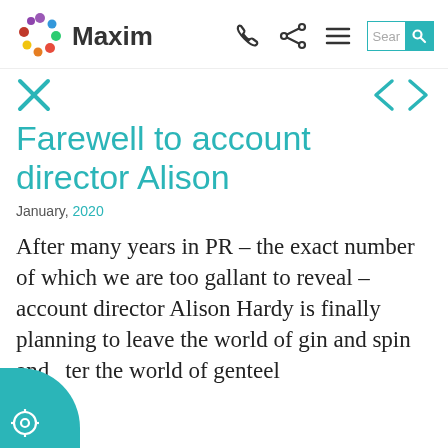Maxim
Farewell to account director Alison
January, 2020
After many years in PR – the exact number of which we are too gallant to reveal – account director Alison Hardy is finally planning to leave the world of gin and spin and enter the world of genteel